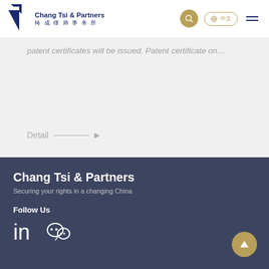[Figure (logo): Chang Tsi & Partners law firm logo with blue triangular icon and firm name in English and Chinese]
patent certificates will be issued. Patent certificate on…
Detail →
Chang Tsi & Partners
Securing your rights in a changing China
Follow Us
[Figure (illustration): LinkedIn and WeChat social media icons in white]